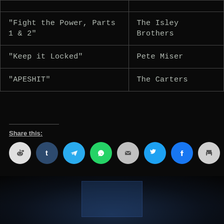| Song | Artist |
| --- | --- |
|  |  |
| “Fight the Power, Parts 1 & 2” | The Isley Brothers |
| “Keep it Locked” | Pete Miser |
| “APESHIT” | The Carters |
Share this:
[Figure (other): Dark blurred background image showing a dim room with a faint glowing screen/monitor in the center]